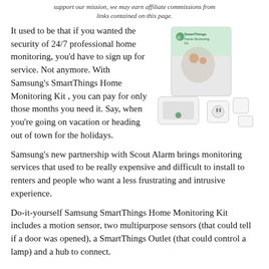support our mission, we may earn affiliate commissions from links contained on this page.
It used to be that if you wanted the security of 24/7 professional home monitoring, you'd have to sign up for service. Not anymore. With Samsung's SmartThings Home Monitoring Kit , you can pay for only those months you need it. Say, when you're going on vacation or heading out of town for the holidays.
[Figure (photo): Samsung SmartThings Home Monitoring Kit product box and components including hub, outlet, and sensors.]
Samsung's new partnership with Scout Alarm brings monitoring services that used to be really expensive and difficult to install to renters and people who want a less frustrating and intrusive experience.
Do-it-yourself Samsung SmartThings Home Monitoring Kit includes a motion sensor, two multipurpose sensors (that could tell if a door was opened), a SmartThings Outlet (that could control a lamp) and a hub to connect.